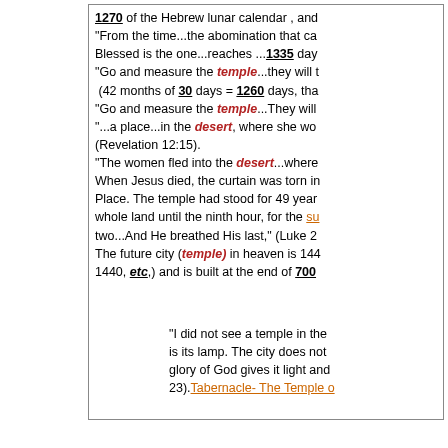1270 of the Hebrew lunar calendar, and... "From the time...the abomination that ca... Blessed is the one...reaches ...1335 day... "Go and measure the temple...they will t... (42 months of 30 days = 1260 days, tha... "Go and measure the temple...They will ... "...a place...in the desert, where she wo... (Revelation 12:15). "The women fled into the desert...where... When Jesus died, the curtain was torn i... Place. The temple had stood for 49 year... whole land until the ninth hour, for the su... two...And He breathed His last," (Luke 2:... The future city (temple) in heaven is 144... 1440, etc,) and is built at the end of 700...
"I did not see a temple in the... is its lamp. The city does not... glory of God gives it light and... 23). Tabernacle- The Temple o...